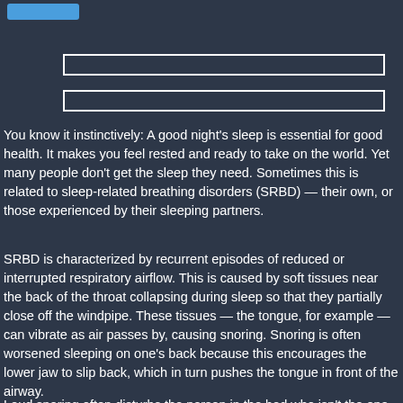You know it instinctively: A good night's sleep is essential for good health. It makes you feel rested and ready to take on the world. Yet many people don't get the sleep they need. Sometimes this is related to sleep-related breathing disorders (SRBD) — their own, or those experienced by their sleeping partners.
SRBD is characterized by recurrent episodes of reduced or interrupted respiratory airflow. This is caused by soft tissues near the back of the throat collapsing during sleep so that they partially close off the windpipe. These tissues — the tongue, for example — can vibrate as air passes by, causing snoring. Snoring is often worsened sleeping on one's back because this encourages the lower jaw to slip back, which in turn pushes the tongue in front of the airway.
Loud snoring often disturbs the person in the bed who isn't the one doing it, robbing him or her of vital sleep. The snorer, on the other hand, may seem to be slumbering peacefully, but this might not